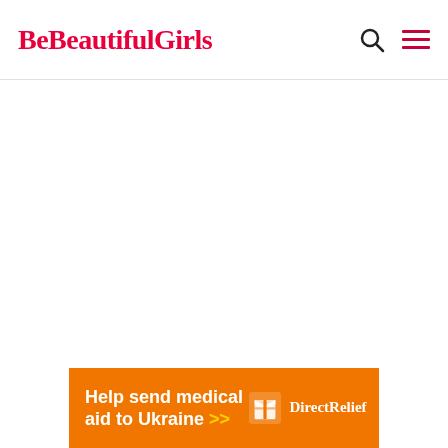BeBeautifulGirls
[Figure (other): Large blank white content area below the site header]
[Figure (infographic): Orange advertisement banner: 'Help send medical aid to Ukraine >>' with Direct Relief logo on the right]